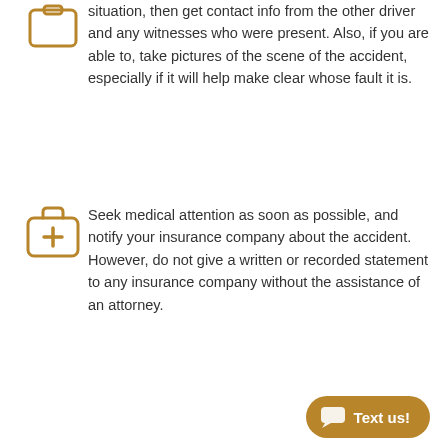[Figure (illustration): Gold/amber outlined camera or document icon at top left]
situation, then get contact info from the other driver and any witnesses who were present. Also, if you are able to, take pictures of the scene of the accident, especially if it will help make clear whose fault it is.
[Figure (illustration): Gold/amber outlined first aid / medical kit icon]
Seek medical attention as soon as possible, and notify your insurance company about the accident. However, do not give a written or recorded statement to any insurance company without the assistance of an attorney.
[Figure (illustration): Gold chat bubble button with text 'Text us!' at bottom right]